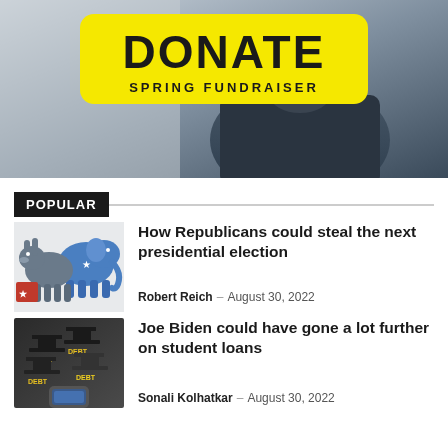[Figure (photo): Donate spring fundraiser banner with yellow rounded rectangle button showing DONATE text and SPRING FUNDRAISER subtitle, held by a person in dark clothing on a light background]
POPULAR
[Figure (illustration): Republican elephant and Democratic donkey political party symbols in blue, red, white, and grey]
How Republicans could steal the next presidential election
Robert Reich — August 30, 2022
[Figure (photo): Photo of graduation caps with DEBT written on them along with student debt imagery]
Joe Biden could have gone a lot further on student loans
Sonali Kolhatkar — August 30, 2022